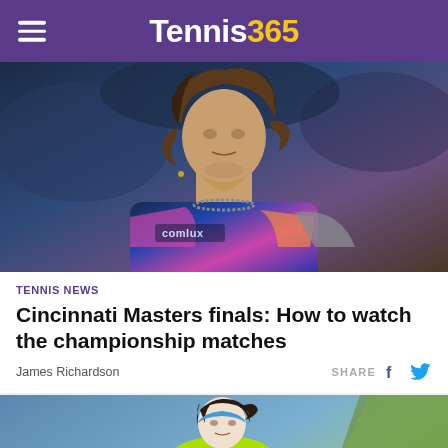Tennis365
[Figure (photo): Tennis player with curly hair wearing a dark blue colorful jersey with 'comlux' branding, close-up shot from chest up]
TENNIS NEWS
Cincinnati Masters finals: How to watch the championship matches
James Richardson
SHARE
[Figure (photo): Female tennis player wearing a light blue headband and neon yellow-green tennis outfit, holding a racket in a ready stance on a blue hard court]